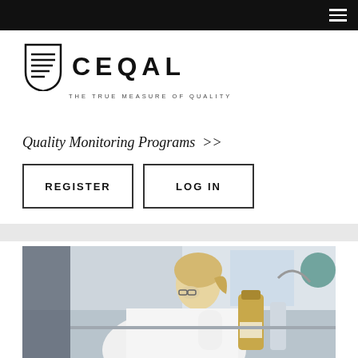Navigation bar with hamburger menu
[Figure (logo): CEQAL shield logo with horizontal lines and text CEQAL - THE TRUE MEASURE OF QUALITY]
Quality Monitoring Programs >>
REGISTER | LOG IN buttons
[Figure (photo): Laboratory scene: a woman in a white lab coat with blonde hair in a ponytail, wearing glasses, working with laboratory bottles and equipment. Bright, professional lab setting.]